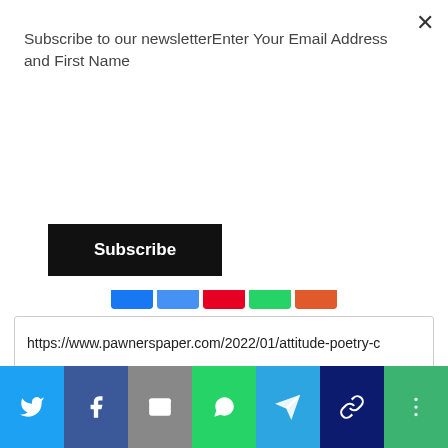Subscribe to our newsletterEnter Your Email Address and First Name
Subscribe
[Figure (screenshot): Share icon buttons strip (blue, dark blue, red/pink, green, orange-red)]
https://www.pawnerspaper.com/2022/01/attitude-poetry-c
RECOMMENDED FOR YOU
[Figure (illustration): Illustration of a female teacher standing at a chalkboard holding a book]
[Figure (screenshot): Bottom social share bar with Twitter, Facebook, Email, WhatsApp, Telegram, Copy Link, and More buttons]